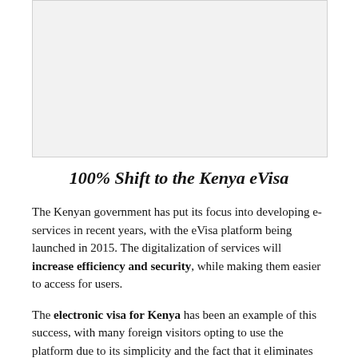[Figure (photo): Blank/placeholder image area with light gray background]
100% Shift to the Kenya eVisa
The Kenyan government has put its focus into developing e-services in recent years, with the eVisa platform being launched in 2015. The digitalization of services will increase efficiency and security, while making them easier to access for users.
The electronic visa for Kenya has been an example of this success, with many foreign visitors opting to use the platform due to its simplicity and the fact that it eliminates